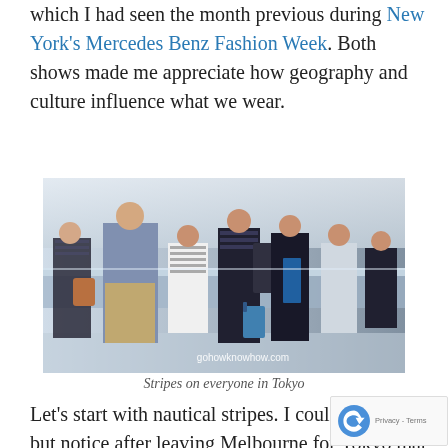which I had seen the month previous during New York's Mercedes Benz Fashion Week. Both shows made me appreciate how geography and culture influence what we wear.
[Figure (photo): People standing in line at what appears to be an airport or transit hub in Tokyo, many wearing striped clothing. Watermark: gohowknowhow.com]
Stripes on everyone in Tokyo
Let's start with nautical stripes. I couldn't help but notice after leaving Melbourne for Tokyo that every Japanese traveler was wearing them. In Japan, g dressed in the morning appears to be one extre another. A good number of people seem to appr such